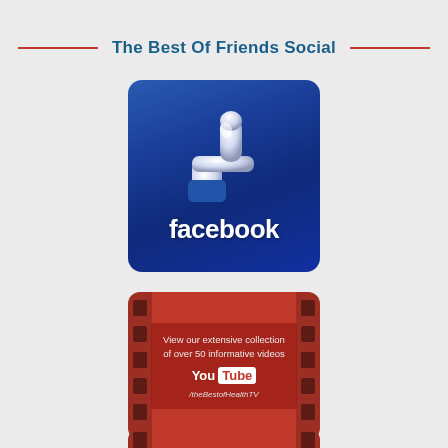The Best Of Friends Social
[Figure (logo): Facebook logo with thumbs up 'Like' icon on blue gradient background with rounded corners]
[Figure (infographic): YouTube card on red background with film strip decoration. Text: 'View our extensive collection of over 50 informative videos' with YouTube logo and '/theBestofHealthTV' channel name]
[Figure (infographic): Partially visible third red social media card at bottom of page]